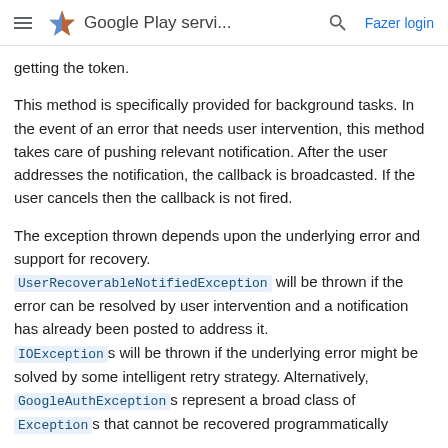Google Play servi... Fazer login
getting the token.
This method is specifically provided for background tasks. In the event of an error that needs user intervention, this method takes care of pushing relevant notification. After the user addresses the notification, the callback is broadcasted. If the user cancels then the callback is not fired.
The exception thrown depends upon the underlying error and support for recovery. UserRecoverableNotifiedException will be thrown if the error can be resolved by user intervention and a notification has already been posted to address it. IOExceptions will be thrown if the underlying error might be solved by some intelligent retry strategy. Alternatively, GoogleAuthExceptions represent a broad class of Exceptions that cannot be recovered programmatically.